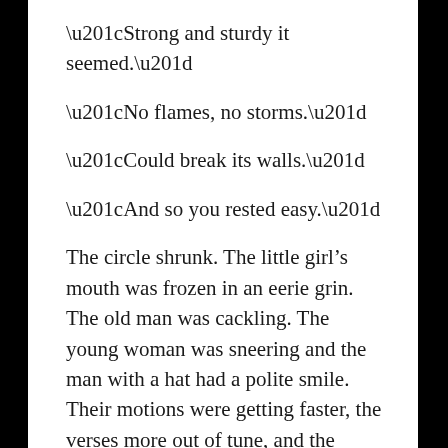“Strong and sturdy it seemed.”
“No flames, no storms.”
“Could break its walls.”
“And so you rested easy.”
The circle shrunk. The little girl’s mouth was frozen in an eerie grin. The old man was cackling. The young woman was sneering and the man with a hat had a polite smile. Their motions were getting faster, the verses more out of tune, and the dance crazier and wilder. Cold sweat poured down my back.
“You built a Castle.”
“Big and sturdy.”